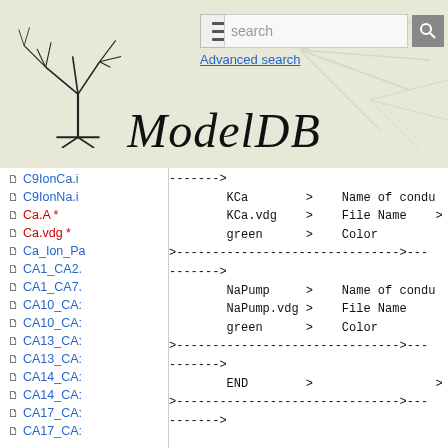ModelDB — Advanced search
C9IonCa.i
C9IonNa.i
Ca.A *
Ca.vdg *
Ca_Ion_Pa
CA1_CA2.
CA1_CA7.
CA10_CA:
CA10_CA:
CA13_CA:
CA13_CA:
CA14_CA:
CA14_CA:
CA17_CA:
CA17_CA:
------->
        KCa        >    Name of condu
        KCa.vdg    >    File Name    >
        green      >    Color
>------------------------------->---
------->
        NaPump     >    Name of condu
        NaPump.vdg >    File Name
        green      >    Color
>------------------------------->---
------->
        END        >                 >
>------------------------------->---
------->

        LIST_ION:  >    List of Ion p
>------------------------------->---
------->
        C1IonCa    >    Name of Ion
        C1IonCa.ion         >    File